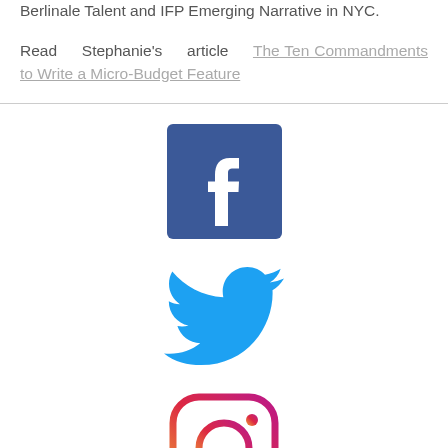Berlinale Talent and IFP Emerging Narrative in NYC.
Read Stephanie's article The Ten Commandments to Write a Micro-Budget Feature
[Figure (logo): Facebook logo icon - blue square with white 'f' letter]
[Figure (logo): Twitter logo icon - blue bird]
[Figure (logo): Instagram logo icon - gradient outline camera]